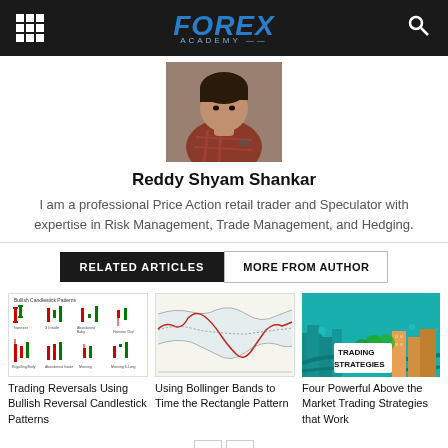FOREX ACADEMY
[Figure (photo): Profile photo of Reddy Shyam Shankar, a man in a plaid shirt with hand on chin]
Reddy Shyam Shankar
I am a professional Price Action retail trader and Speculator with expertise in Risk Management, Trade Management, and Hedging.
RELATED ARTICLES | MORE FROM AUTHOR
[Figure (illustration): Thumbnail showing Bullish Candlestick Patterns chart with multiple candlestick pattern examples]
Trading Reversals Using Bullish Reversal Candlestick Patterns
[Figure (continuous-plot): Bollinger Bands chart showing price action with rectangle pattern highlighted]
Using Bollinger Bands to Time the Rectangle Pattern
[Figure (illustration): Illustration with teal background showing city buildings and roads with text TRADING STRATEGIES]
Four Powerful Above the Market Trading Strategies that Work